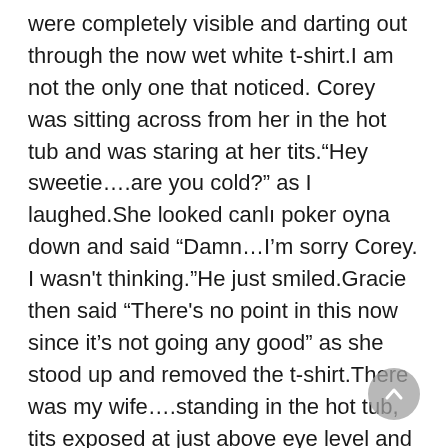were completely visible and darting out through the now wet white t-shirt.I am not the only one that noticed. Corey was sitting across from her in the hot tub and was staring at her tits.“Hey sweetie….are you cold?” as I laughed.She looked canlı poker oyna down and said “Damn…I’m sorry Corey. I wasn't thinking.”He just smiled.Gracie then said “There's no point in this now since it’s not going any good” as she stood up and removed the t-shirt.There was my wife….standing in the hot tub, tits exposed at just above eye level and three feet from Corey’s face.“Gracie….really?” I asked sarcastically.She got a little pissed and replied to me,“You don’t mind any other time”Corey asked “You guys don’t mind taking your clothes off out here?”Gracie told him that with the privacy fence and the fact that the neighbors are a half mile away, we go nude back here all the time.“That’s cool” he said.“No, this is cool” Gracie said she she stripped off her bikini bottoms.Standing totally naked now in front of Corey she said, “We might be old, but we